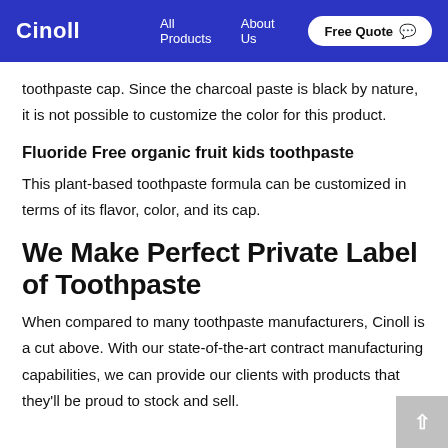Cinoll | All Products | About Us | Free Quote
toothpaste cap. Since the charcoal paste is black by nature, it is not possible to customize the color for this product.
Fluoride Free organic fruit kids toothpaste
This plant-based toothpaste formula can be customized in terms of its flavor, color, and its cap.
We Make Perfect Private Label of Toothpaste
When compared to many toothpaste manufacturers, Cinoll is a cut above. With our state-of-the-art contract manufacturing capabilities, we can provide our clients with products that they'll be proud to stock and sell.